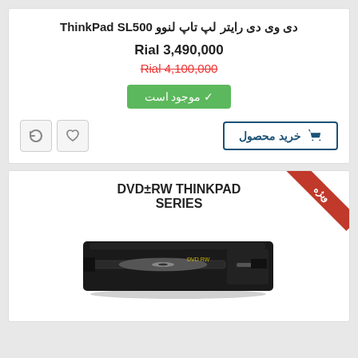دی وی دی رایتر لپ تاپ لنوو ThinkPad SL500
Rial 3,490,000
Rial 4,100,000
✓ موجود است
خرید محصول
[Figure (screenshot): Product listing card with price, availability badge, buy button and action icons]
DVD±RW THINKPAD SERIES
[Figure (photo): Photo of a DVD±RW laptop optical drive, black, with disc tray open slightly, viewed from an angle]
ویژه